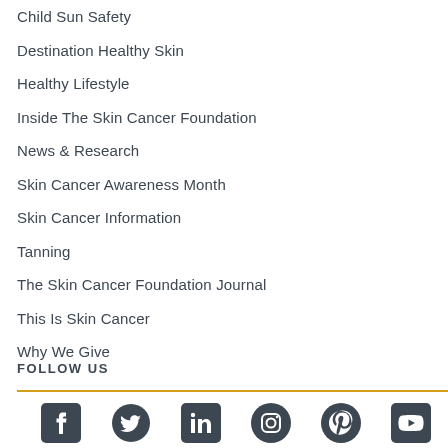Child Sun Safety
Destination Healthy Skin
Healthy Lifestyle
Inside The Skin Cancer Foundation
News & Research
Skin Cancer Awareness Month
Skin Cancer Information
Tanning
The Skin Cancer Foundation Journal
This Is Skin Cancer
Why We Give
FOLLOW US
[Figure (infographic): Social media icons row: Facebook, Twitter, LinkedIn, Instagram, Pinterest, YouTube]